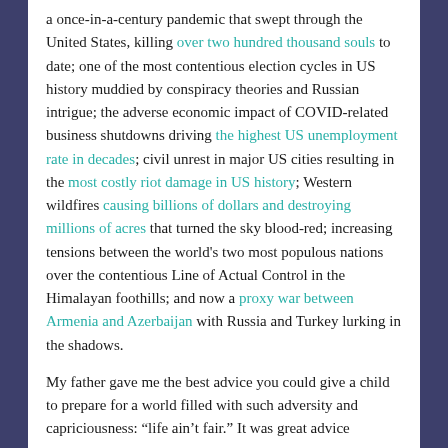a once-in-a-century pandemic that swept through the United States, killing over two hundred thousand souls to date; one of the most contentious election cycles in US history muddied by conspiracy theories and Russian intrigue; the adverse economic impact of COVID-related business shutdowns driving the highest US unemployment rate in decades; civil unrest in major US cities resulting in the most costly riot damage in US history; Western wildfires causing billions of dollars and destroying millions of acres that turned the sky blood-red; increasing tensions between the world's two most populous nations over the contentious Line of Actual Control in the Himalayan foothills; and now a proxy war between Armenia and Azerbaijan with Russia and Turkey lurking in the shadows.
My father gave me the best advice you could give a child to prepare for a world filled with such adversity and capriciousness: "life ain't fair." It was great advice